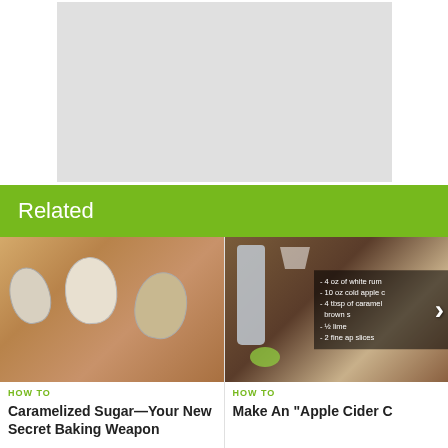[Figure (photo): Gray placeholder image area at the top center of the page]
Related
[Figure (photo): Photo of spoons with different types of sugar (white and brown) on a wooden surface]
HOW TO
Caramelized Sugar—Your New Secret Baking Weapon
[Figure (photo): Photo of a bottle, martini glasses, apple slices, and a recipe overlay showing ingredients for an Apple Cider cocktail: 4 oz of white rum, 10 oz cold apple cider, 4 tbsp of caramel brown sugar, 1/2 lime, 2 fine apple slices. A right arrow navigation button is visible.]
HOW TO
Make An "Apple Cider C